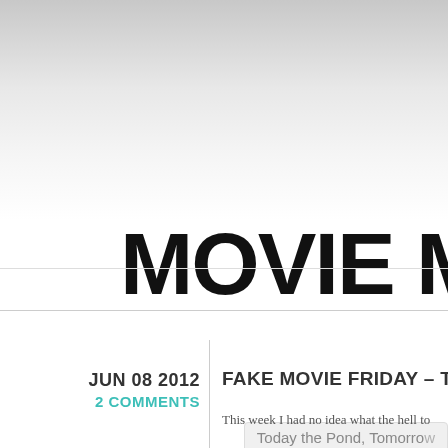MOVIE MOVIE
Today the Pond, Tomorrow
JUN 08 2012
2 COMMENTS
FAKE MOVIE FRIDAY – TH
This week I had no idea what the hell to